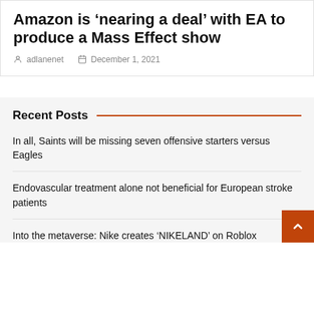Amazon is 'nearing a deal' with EA to produce a Mass Effect show
adlanenet   December 1, 2021
Recent Posts
In all, Saints will be missing seven offensive starters versus Eagles
Endovascular treatment alone not beneficial for European stroke patients
Into the metaverse: Nike creates ‘NIKELAND’ on Roblox